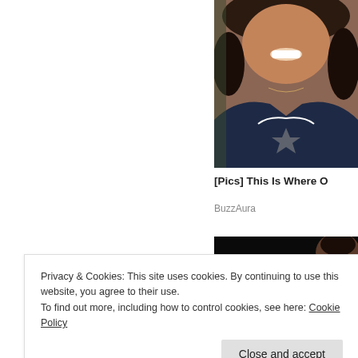[Figure (photo): Photo of a smiling woman wearing a dark blue top with white lace trim and hoop earrings, cropped at the top right of the page]
[Pics] This Is Where O
BuzzAura
[Figure (photo): Partially visible photo with dark background at bottom right]
Privacy & Cookies: This site uses cookies. By continuing to use this website, you agree to their use.
To find out more, including how to control cookies, see here: Cookie Policy
Close and accept